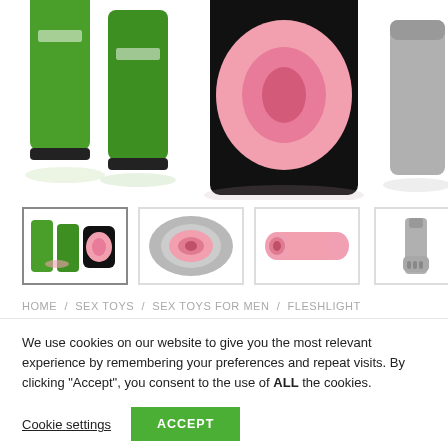[Figure (photo): Product photo showing Fleshlight sex toy products - green canisters and open pink device on white background, partially cropped at top]
[Figure (photo): Row of four product thumbnail images: first selected showing full kit with canisters and toy, second showing close-up of pink opening in silver case, third showing pink tube body, fourth showing silver cap attachment]
HOME / SEX TOYS / SEX TOYS FOR MEN / FLESHLIGHT
We use cookies on our website to give you the most relevant experience by remembering your preferences and repeat visits. By clicking "Accept", you consent to the use of ALL the cookies.
Cookie settings
ACCEPT